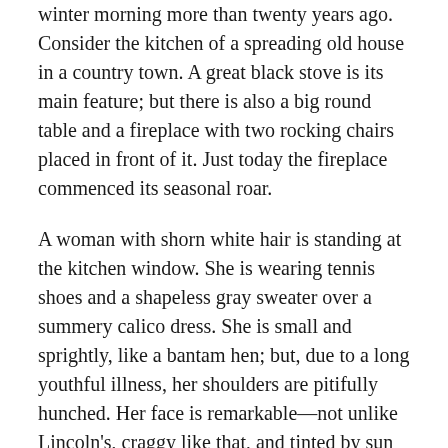winter morning more than twenty years ago. Consider the kitchen of a spreading old house in a country town. A great black stove is its main feature; but there is also a big round table and a fireplace with two rocking chairs placed in front of it. Just today the fireplace commenced its seasonal roar.
A woman with shorn white hair is standing at the kitchen window. She is wearing tennis shoes and a shapeless gray sweater over a summery calico dress. She is small and sprightly, like a bantam hen; but, due to a long youthful illness, her shoulders are pitifully hunched. Her face is remarkable—not unlike Lincoln's, craggy like that, and tinted by sun and wind; but it is delicate too, finely boned, and her eyes are sherry-colored and timid. “Oh my,” she exclaims, her breath smoking the windowpane, “it’s fruitcake weather!”
The person to whom she is speaking is myself. I am